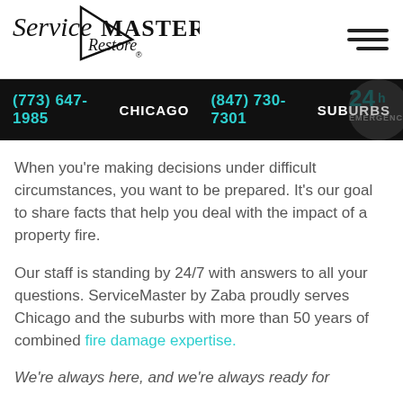[Figure (logo): ServiceMaster Restore logo with triangle graphic]
(773) 647-1985 CHICAGO   (847) 730-7301 SUBURBS
When you're making decisions under difficult circumstances, you want to be prepared. It's our goal to share facts that help you deal with the impact of a property fire.
Our staff is standing by 24/7 with answers to all your questions. ServiceMaster by Zaba proudly serves Chicago and the suburbs with more than 50 years of combined fire damage expertise.
We're always here, and we're always ready for